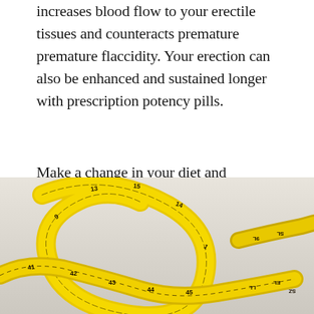increases blood flow to your erectile tissues and counteracts premature premature flaccidity. Your erection can also be enhanced and sustained longer with prescription potency pills.
Make a change in your diet and implement Eroxel to your daily diet, you will not regret it when you see the good results: Eroxel
[Figure (photo): A yellow measuring tape coiled and curled on a light gray/white surface, showing various numbered markings.]